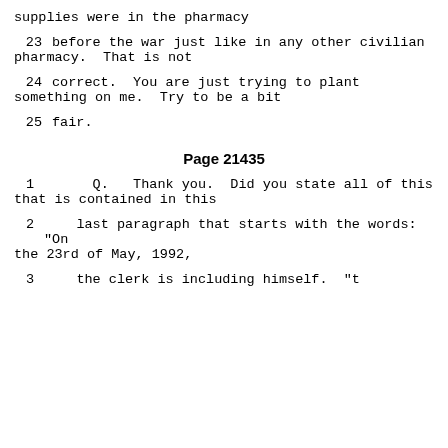supplies were in the pharmacy
23     before the war just like in any other civilian pharmacy.  That is not
24     correct.  You are just trying to plant something on me.  Try to be a bit
25     fair.
Page 21435
1      Q.   Thank you.  Did you state all of this that is contained in this
2      last paragraph that starts with the words: "On the 23rd of May, 1992,
3      ...